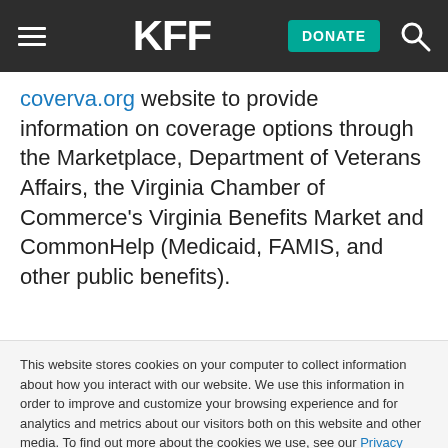KFF | DONATE
coverva.org website to provide information on coverage options through the Marketplace, Department of Veterans Affairs, the Virginia Chamber of Commerce’s Virginia Benefits Market and CommonHelp (Medicaid, FAMIS, and other public benefits).
This website stores cookies on your computer to collect information about how you interact with our website. We use this information in order to improve and customize your browsing experience and for analytics and metrics about our visitors both on this website and other media. To find out more about the cookies we use, see our Privacy Policy.
Accept